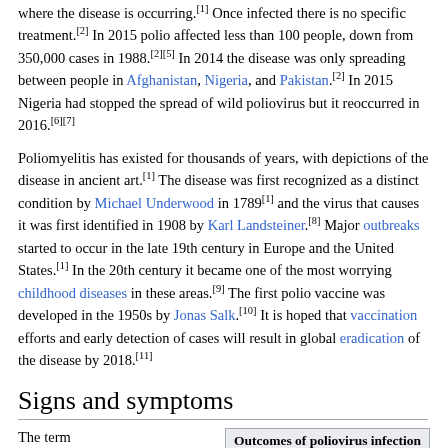where the disease is occurring.[1] Once infected there is no specific treatment.[2] In 2015 polio affected less than 100 people, down from 350,000 cases in 1988.[2][5] In 2014 the disease was only spreading between people in Afghanistan, Nigeria, and Pakistan.[2] In 2015 Nigeria had stopped the spread of wild poliovirus but it reoccurred in 2016.[6][7]
Poliomyelitis has existed for thousands of years, with depictions of the disease in ancient art.[1] The disease was first recognized as a distinct condition by Michael Underwood in 1789[1] and the virus that causes it was first identified in 1908 by Karl Landsteiner.[8] Major outbreaks started to occur in the late 19th century in Europe and the United States.[1] In the 20th century it became one of the most worrying childhood diseases in these areas.[9] The first polio vaccine was developed in the 1950s by Jonas Salk.[10] It is hoped that vaccination efforts and early detection of cases will result in global eradication of the disease by 2018.[11]
Signs and symptoms
| Outcome | Proportion of cases[1] |
| --- | --- |
The term "poliomyelitis" is